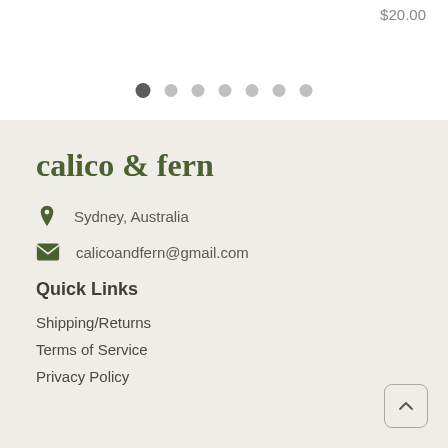$20.00
[Figure (other): Carousel pagination dots — one dark filled dot (active) followed by six lighter dots]
calico & fern
Sydney, Australia
calicoandfern@gmail.com
Quick Links
Shipping/Returns
Terms of Service
Privacy Policy